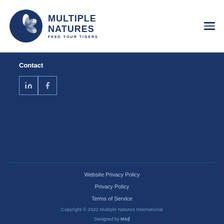[Figure (logo): Multiple Natures logo with circular pinwheel-flower icon in dark navy blue, text MULTIPLE NATURES FEED YOUR TIGERS]
Contact
[Figure (infographic): LinkedIn and Facebook social media icon buttons in bordered boxes]
Website Privacy Policy
Privacy Policy
Terms of Service
Copyright © 2022 Multiple Natures International
Designed by Māḍ